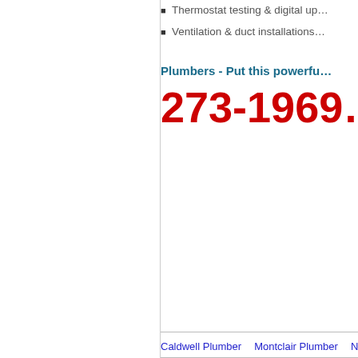Thermostat testing & digital up…
Ventilation & duct installations…
Plumbers - Put this powerfu…
273-1969…
Caldwell Plumber   Montclair Plumber   New…